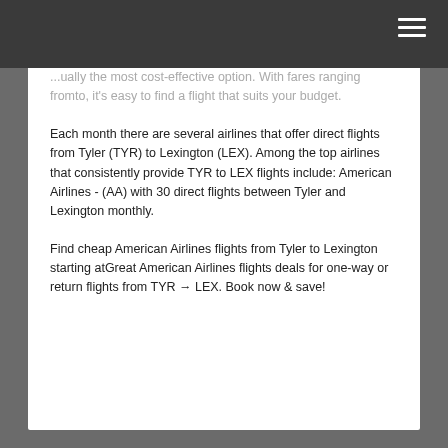...ually the most cost-effective option. With fares ranging fromto, it's easy to find a flight that suits your budget.
Each month there are several airlines that offer direct flights from Tyler (TYR) to Lexington (LEX). Among the top airlines that consistently provide TYR to LEX flights include: American Airlines - (AA) with 30 direct flights between Tyler and Lexington monthly.
Find cheap American Airlines flights from Tyler to Lexington starting atGreat American Airlines flights deals for one-way or return flights from TYR → LEX. Book now & save!